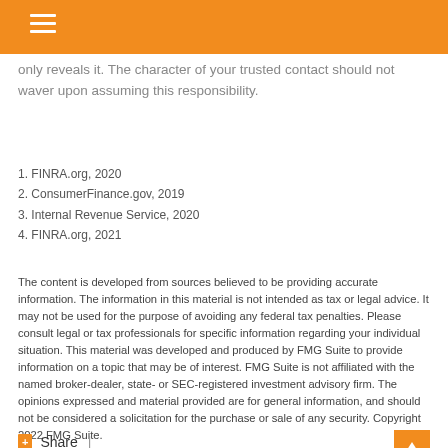only reveals it. The character of your trusted contact should not waver upon assuming this responsibility.
1. FINRA.org, 2020
2. ConsumerFinance.gov, 2019
3. Internal Revenue Service, 2020
4. FINRA.org, 2021
The content is developed from sources believed to be providing accurate information. The information in this material is not intended as tax or legal advice. It may not be used for the purpose of avoiding any federal tax penalties. Please consult legal or tax professionals for specific information regarding your individual situation. This material was developed and produced by FMG Suite to provide information on a topic that may be of interest. FMG Suite is not affiliated with the named broker-dealer, state- or SEC-registered investment advisory firm. The opinions expressed and material provided are for general information, and should not be considered a solicitation for the purchase or sale of any security. Copyright 2022 FMG Suite.
Share  |
Have A Question About This Topic?